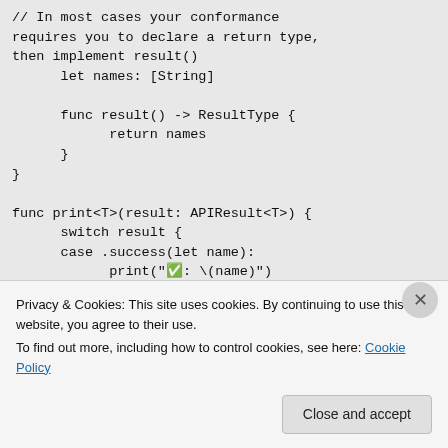// In most cases your conformance requires you to declare a return type, then implement result()
    let names: [String]

    func result() -> ResultType {
        return names
    }
}

func print<T>(result: APIResult<T>) {
    switch result {
    case .success(let name):
        print("✅: \(name)")
    case .failure(let error):
        print("❌: \
(String(describing: error))")
Privacy & Cookies: This site uses cookies. By continuing to use this website, you agree to their use.
To find out more, including how to control cookies, see here: Cookie Policy